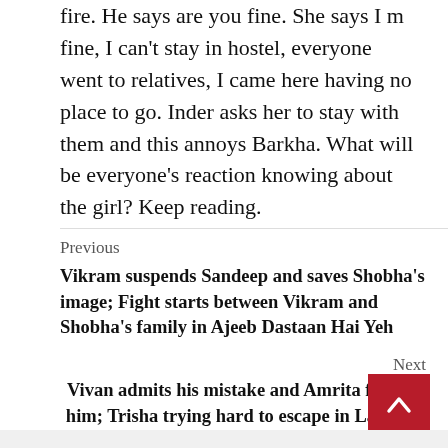fire. He says are you fine. She says I m fine, I can't stay in hostel, everyone went to relatives, I came here having no place to go. Inder asks her to stay with them and this annoys Barkha. What will be everyone's reaction knowing about the girl? Keep reading.
Previous
Vikram suspends Sandeep and saves Shobha's image; Fight starts between Vikram and Shobha's family in Ajeeb Dastaan Hai Yeh
Next
Vivan admits his mistake and Amrita forgives him; Trisha trying hard to escape in Laut Aao Trisha